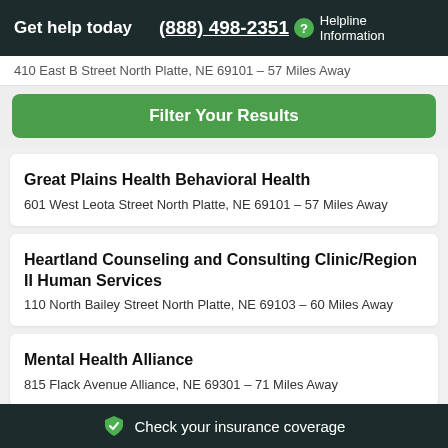Get help today | (888) 498-2351 | Helpline Information
410 East B Street North Platte, NE 69101 – 57 Miles Away
Filter Your Results
Great Plains Health Behavioral Health
601 West Leota Street North Platte, NE 69101 – 57 Miles Away
Heartland Counseling and Consulting Clinic/Region II Human Services
110 North Bailey Street North Platte, NE 69103 – 60 Miles Away
Mental Health Alliance
815 Flack Avenue Alliance, NE 69301 – 71 Miles Away
Check your insurance coverage